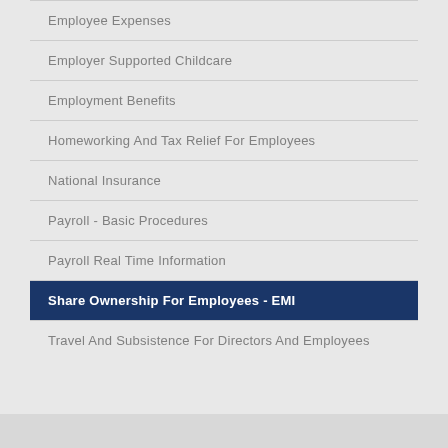Employee Expenses
Employer Supported Childcare
Employment Benefits
Homeworking And Tax Relief For Employees
National Insurance
Payroll - Basic Procedures
Payroll Real Time Information
Share Ownership For Employees - EMI
Travel And Subsistence For Directors And Employees